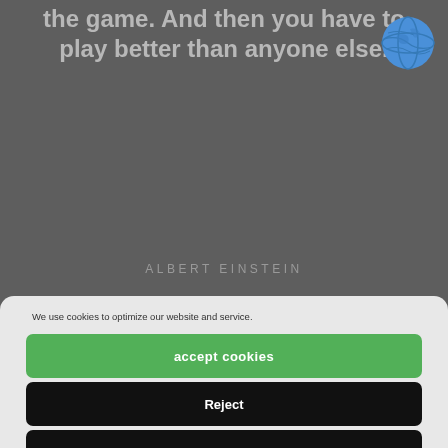the game. And then you have to play better than anyone else.
[Figure (illustration): Blue globe/earth icon in top right corner]
ALBERT EINSTEIN
We use cookies to optimize our website and service.
accept cookies
Reject
show settings
Cookie Policy   Privacy Policy   Imprint